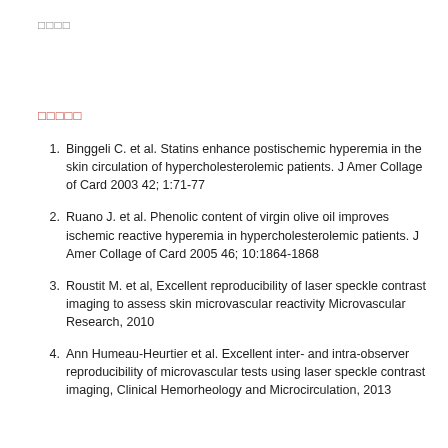□□□□
□□□□□
Binggeli C. et al. Statins enhance postischemic hyperemia in the skin circulation of hypercholesterolemic patients. J Amer Collage of Card 2003 42; 1:71-77
Ruano J. et al. Phenolic content of virgin olive oil improves ischemic reactive hyperemia in hypercholesterolemic patients. J Amer Collage of Card 2005 46; 10:1864-1868
Roustit M. et al, Excellent reproducibility of laser speckle contrast imaging to assess skin microvascular reactivity Microvascular Research, 2010
Ann Humeau-Heurtier et al. Excellent inter- and intra-observer reproducibility of microvascular tests using laser speckle contrast imaging, Clinical Hemorheology and Microcirculation, 2013